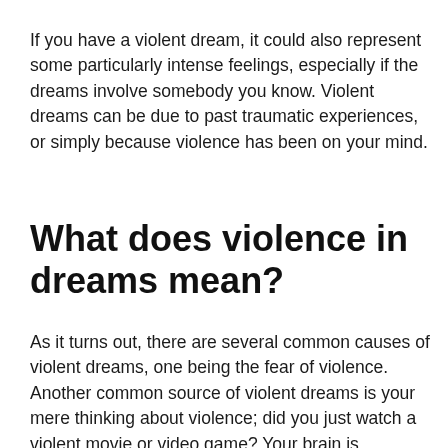If you have a violent dream, it could also represent some particularly intense feelings, especially if the dreams involve somebody you know. Violent dreams can be due to past traumatic experiences, or simply because violence has been on your mind.
What does violence in dreams mean?
As it turns out, there are several common causes of violent dreams, one being the fear of violence. Another common source of violent dreams is your mere thinking about violence; did you just watch a violent movie or video game? Your brain is processing...